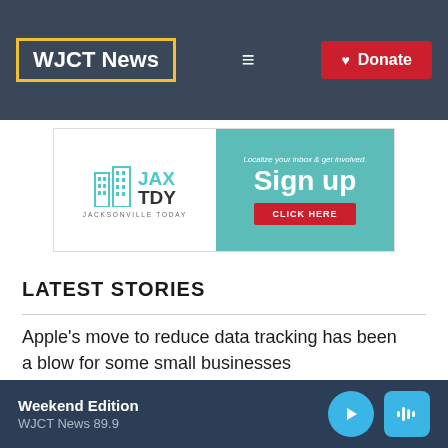WJCT News
[Figure (infographic): JAX TDY Jacksonville Today ad banner: Sign up — Localize your inbox & get involved. CLICK HERE]
LATEST STORIES
Apple's move to reduce data tracking has been a blow for some small businesses
Weekend Edition WJCT News 89.9